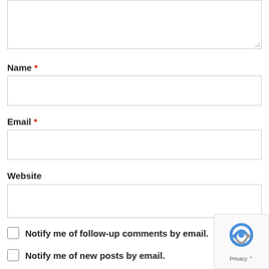[Figure (screenshot): Textarea input box at top of page, partially visible, with resize handle at bottom-right corner.]
Name *
[Figure (screenshot): Text input field for Name]
Email *
[Figure (screenshot): Text input field for Email]
Website
[Figure (screenshot): Text input field for Website]
Notify me of follow-up comments by email.
Notify me of new posts by email.
[Figure (logo): reCAPTCHA badge with blue/grey robot icon and Privacy text]